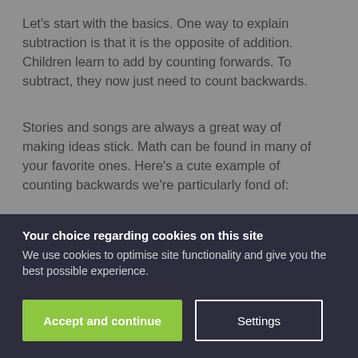Let's start with the basics. One way to explain subtraction is that it is the opposite of addition. Children learn to add by counting forwards. To subtract, they now just need to count backwards.
Stories and songs are always a great way of making ideas stick. Math can be found in many of your favorite ones. Here's a cute example of counting backwards we're particularly fond of:
Your choice regarding cookies on this site
We use cookies to optimise site functionality and give you the best possible experience.
Accept and continue
Settings